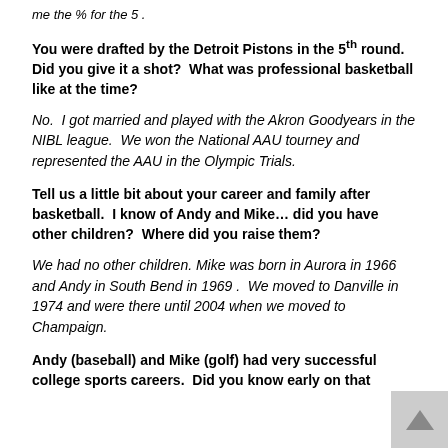me the % for the 5 .
You were drafted by the Detroit Pistons in the 5th round.  Did you give it a shot?  What was professional basketball like at the time?
No.  I got married and played with the Akron Goodyears in the NIBL league.  We won the National AAU tourney and represented the AAU in the Olympic Trials.
Tell us a little bit about your career and family after basketball.  I know of Andy and Mike… did you have other children?  Where did you raise them?
We had no other children. Mike was born in Aurora in 1966 and Andy in South Bend in 1969 .  We moved to Danville in 1974 and were there until 2004 when we moved to Champaign.
Andy (baseball) and Mike (golf) had very successful college sports careers.  Did you know early on that